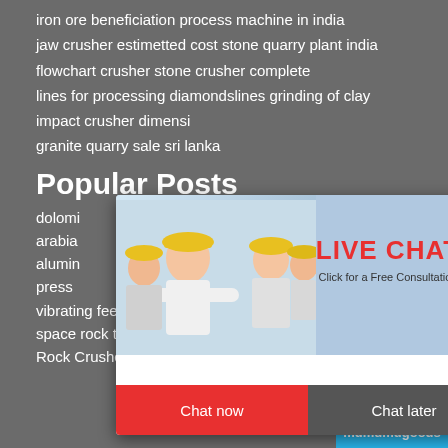iron ore beneficiation process machine in india
jaw crusher estimetted cost stone quarry plant india
flowchart crusher stone crusher complete
lines for processing diamondslines grinding of clay
impact crusher dimensi
granite quarry sale sri lanka
Popular Posts
dolomi...
arabia...
alumin...
press
vibrating feeder for coal operating
space rock to crush earth
Rock Crusher For Gold Extraction C...
[Figure (screenshot): Live chat popup overlay with workers in hard hats, LIVE CHAT text in red, Click for a Free Consultation, Chat now and Chat later buttons]
[Figure (screenshot): Right sidebar with blue background showing hour online text, crusher machine image, Click me to chat>> button, Enquiry section, and mumumugoods text]